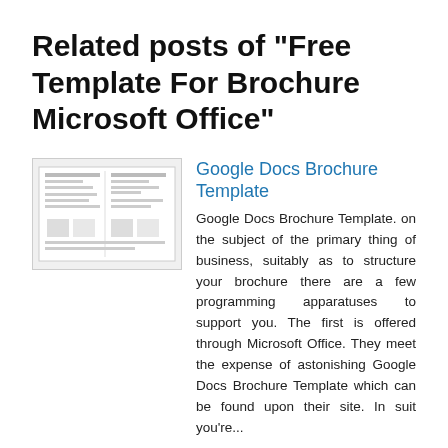Related posts of "Free Template For Brochure Microsoft Office"
[Figure (illustration): Thumbnail image of a Google Docs Brochure Template showing a document layout with columns and lines]
Google Docs Brochure Template
Google Docs Brochure Template. on the subject of the primary thing of business, suitably as to structure your brochure there are a few programming apparatuses to support you. The first is offered through Microsoft Office. They meet the expense of astonishing Google Docs Brochure Template which can be found upon their site. In suit you're...
[Figure (photo): Thumbnail photo showing a 3 Fold Brochure Template Psd with colorful brochure designs laid out]
3 Fold Brochure Template Psd
3 Fold Brochure Template Psd. on the primary concern of business, so as to structure your brochure there are a few programming apparatuses to sustain you. The first is offered through Microsoft Office. They find the money for